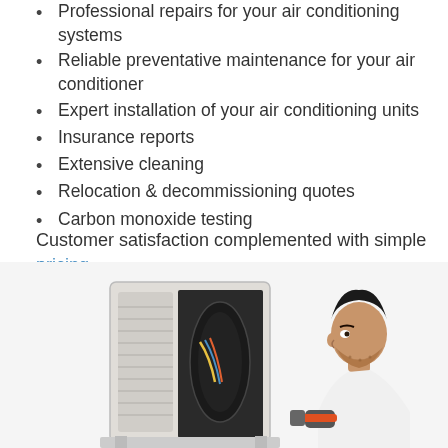Professional repairs for your air conditioning systems
Reliable preventative maintenance for your air conditioner
Expert installation of your air conditioning units
Insurance reports
Extensive cleaning
Relocation & decommissioning quotes
Carbon monoxide testing
Customer satisfaction complemented with simple pricing.
Quick Air team is waiting for your call, make a booking at 02 9054 5391 .
[Figure (photo): Photo of an open air conditioning outdoor unit and a male technician in profile view wearing a white shirt and gloves, holding a tool]